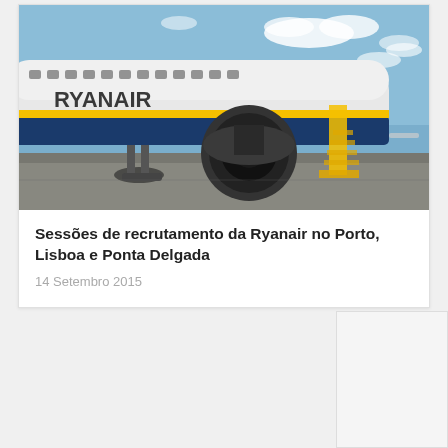[Figure (photo): Ryanair airplane on tarmac, viewed from below showing fuselage with Ryanair logo, engine, and yellow boarding stairs in background under blue sky.]
Sessões de recrutamento da Ryanair no Porto, Lisboa e Ponta Delgada
14 Setembro 2015